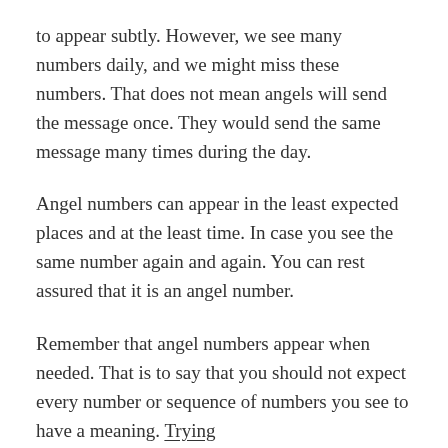to appear subtly. However, we see many numbers daily, and we might miss these numbers. That does not mean angels will send the message once. They would send the same message many times during the day.
Angel numbers can appear in the least expected places and at the least time. In case you see the same number again and again. You can rest assured that it is an angel number.
Remember that angel numbers appear when needed. That is to say that you should not expect every number or sequence of numbers you see to have a meaning. Trying